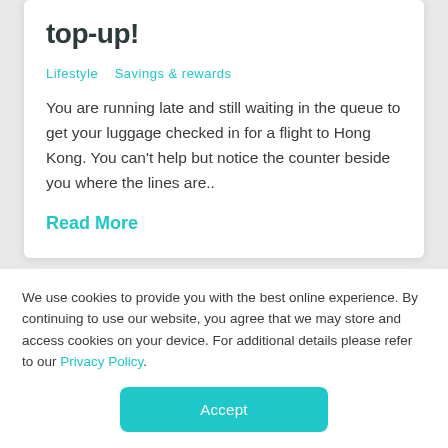top-up!
Lifestyle   Savings & rewards
You are running late and still waiting in the queue to get your luggage checked in for a flight to Hong Kong. You can't help but notice the counter beside you where the lines are..
Read More
[Figure (photo): Partial image strip with blue background and a corner of a book or card visible at the right edge]
We use cookies to provide you with the best online experience. By continuing to use our website, you agree that we may store and access cookies on your device. For additional details please refer to our Privacy Policy.
Accept